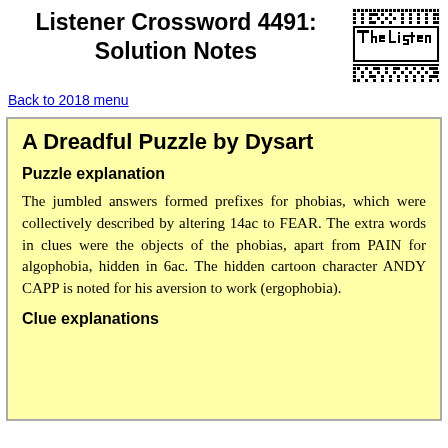Listener Crossword 4491: Solution Notes
[Figure (logo): The Listener Crossword logo rendered as a pixel/grid pattern in black and white]
Back to 2018 menu
A Dreadful Puzzle by Dysart
Puzzle explanation
The jumbled answers formed prefixes for phobias, which were collectively described by altering 14ac to FEAR. The extra words in clues were the objects of the phobias, apart from PAIN for algophobia, hidden in 6ac. The hidden cartoon character ANDY CAPP is noted for his aversion to work (ergophobia).
Clue explanations